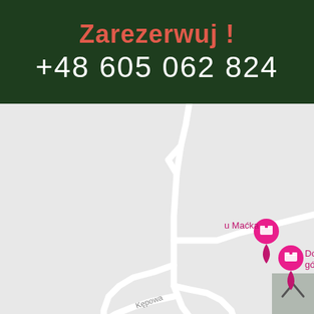Zarezerwuj!
+48 605 062 824
[Figure (map): Google Maps screenshot showing local roads including Kępowa street, with two pink map pins labeled 'u Maćka' and 'Domek w górach. U Marysi'. A navigation up-arrow button is visible in the top-right corner of the map.]